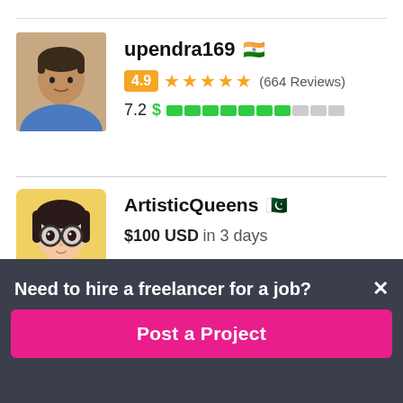[Figure (photo): Profile photo of upendra169, a man in a blue shirt]
upendra169 🇮🇳
4.9 ★★★★★ (664 Reviews)
7.2 $ ▓▓▓▓▓▓▓░░░
[Figure (illustration): Profile illustration of ArtisticQueens, an anime-style girl with dark hair]
ArtisticQueens 🇵🇰
$100 USD in 3 days
Need to hire a freelancer for a job?
Post a Project